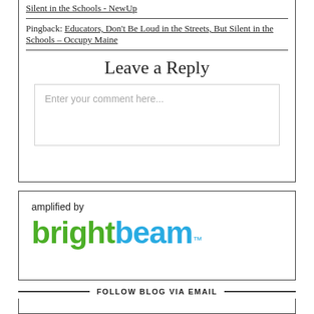Silent in the Schools - NewUp
Pingback: Educators, Don't Be Loud in the Streets, But Silent in the Schools – Occupy Maine
Leave a Reply
Enter your comment here...
[Figure (logo): amplified by brightbeam logo with 'bright' in green and 'beam' in blue]
FOLLOW BLOG VIA EMAIL